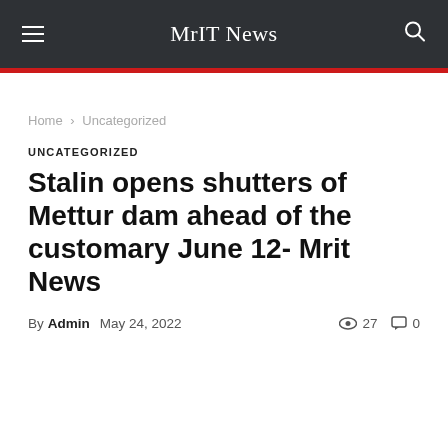MrIT News
Home › Uncategorized
UNCATEGORIZED
Stalin opens shutters of Mettur dam ahead of the customary June 12- Mrit News
By Admin  May 24, 2022  👁 27  💬 0